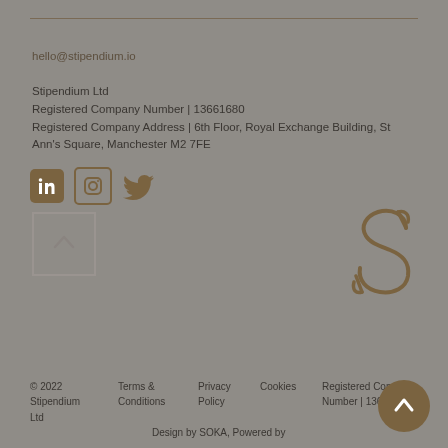hello@stipendium.io
Stipendium Ltd
Registered Company Number | 13661680
Registered Company Address | 6th Floor, Royal Exchange Building, St Ann's Square, Manchester M2 7FE
[Figure (logo): Social media icons: LinkedIn, Instagram, Twitter]
[Figure (logo): Scroll to top button - outlined square with upward chevron]
[Figure (logo): Stipendium S logo in brown/gold on grey background]
© 2022 Stipendium Ltd | Terms & Conditions | Privacy Policy | Cookies | Registered Company Number | 13661680 | Design by SOKA, Powered by